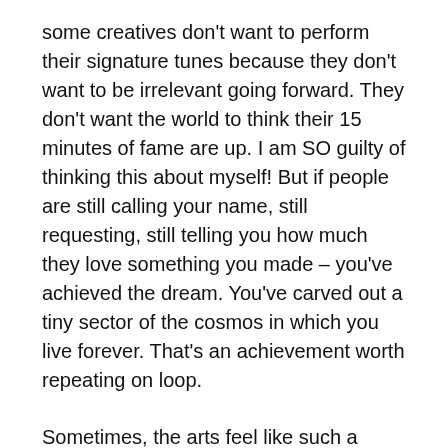some creatives don't want to perform their signature tunes because they don't want to be irrelevant going forward. They don't want the world to think their 15 minutes of fame are up. I am SO guilty of thinking this about myself! But if people are still calling your name, still requesting, still telling you how much they love something you made – you've achieved the dream. You've carved out a tiny sector of the cosmos in which you live forever. That's an achievement worth repeating on loop.
Sometimes, the arts feel like such a selfish pursuit. Crudely put, we artists seek fame and glory in exchange for our thoughts and our talents. Sometimes, it feels like we're not actually making the world a better place. But music absolutely makes the world better